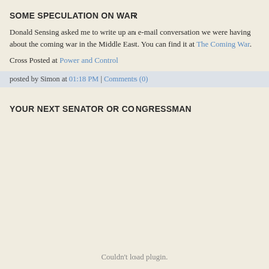SOME SPECULATION ON WAR
Donald Sensing asked me to write up an e-mail conversation we were having about the coming war in the Middle East. You can find it at The Coming War.
Cross Posted at Power and Control
posted by Simon at 01:18 PM | Comments (0)
YOUR NEXT SENATOR OR CONGRESSMAN
Couldn't load plugin.